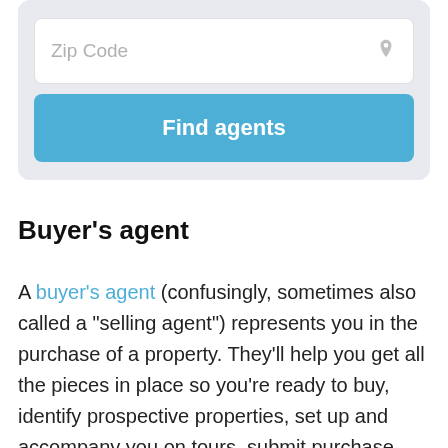[Figure (screenshot): A UI widget with a Zip Code input field and a blue 'Find agents' button on a light gray background]
Buyer's agent
A buyer's agent (confusingly, sometimes also called a "selling agent") represents you in the purchase of a property. They'll help you get all the pieces in place so you're ready to buy, identify prospective properties, set up and accompany you on tours, submit purchase